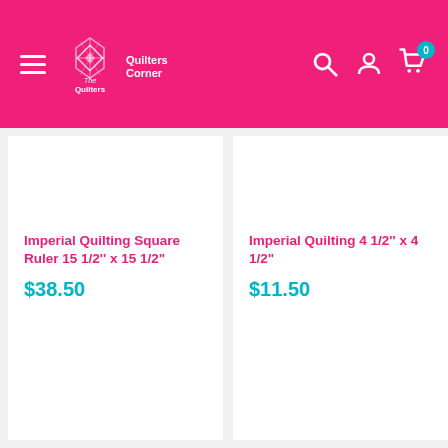[Figure (screenshot): The Quilters Corner website header with pink background, hamburger menu, logo, search icon, user icon, and cart icon with badge showing 0]
Imperial Quilting Square Ruler 15 1/2'' x 15 1/2"
$38.50
Imperial Quilting 4 1/2'' x 4 1/2"
$11.50